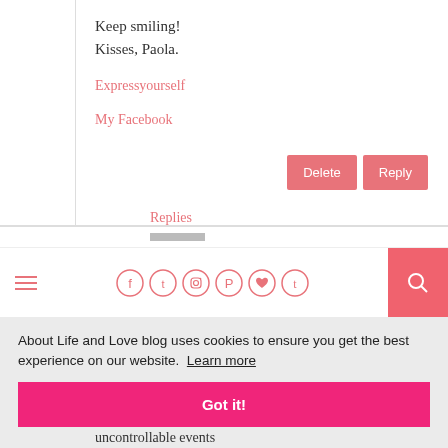Keep smiling!
Kisses, Paola.
Expressyourself
My Facebook
Replies
About Life and Love blog uses cookies to ensure you get the best experience on our website.  Learn more
Got it!
uncontrollable events